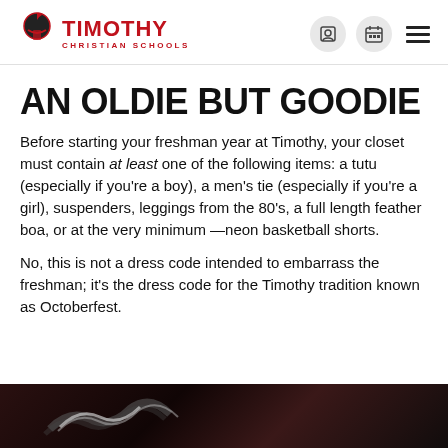Timothy Christian Schools
AN OLDIE BUT GOODIE
Before starting your freshman year at Timothy, your closet must contain at least one of the following items: a tutu (especially if you’re a boy), a men’s tie (especially if you’re a girl), suspenders, leggings from the 80’s, a full length feather boa, or at the very minimum —neon basketball shorts.
No, this is not a dress code intended to embarrass the freshman; it’s the dress code for the Timothy tradition known as Octoberfest.
[Figure (photo): Dark photo showing what appears to be a flag or banner being waved, taken at a Timothy Christian Schools event.]